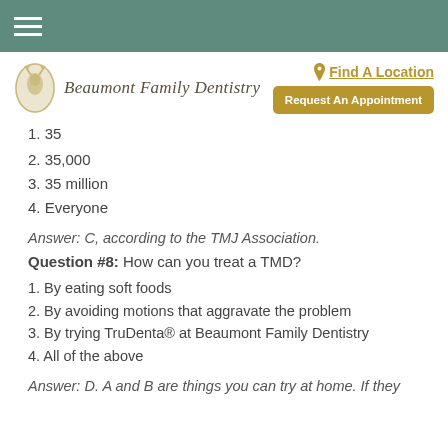≡ (hamburger menu)
[Figure (logo): Beaumont Family Dentistry logo with deer/face silhouette in gold circle and script text]
Find A Location
Request An Appointment
1. 35
2. 35,000
3. 35 million
4. Everyone
Answer: C, according to the TMJ Association.
Question #8: How can you treat a TMD?
1. By eating soft foods
2. By avoiding motions that aggravate the problem
3. By trying TruDenta® at Beaumont Family Dentistry
4. All of the above
Answer: D. A and B are things you can try at home. If they